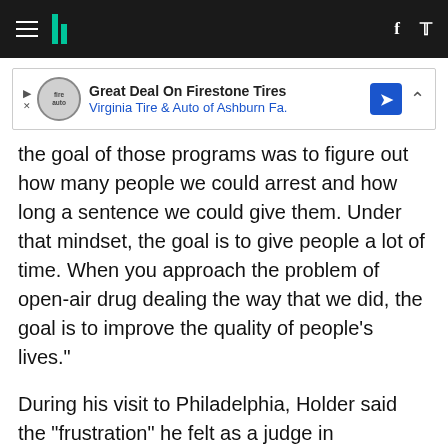HuffPost navigation bar with hamburger menu, logo, Facebook and Twitter icons
[Figure (other): Advertisement banner: Great Deal On Firestone Tires - Virginia Tire & Auto of Ashburn Fa.]
the goal of those programs was to figure out how many people we could arrest and how long a sentence we could give them. Under that mindset, the goal is to give people a lot of time. When you approach the problem of open-air drug dealing the way that we did, the goal is to improve the quality of people's lives."
During his visit to Philadelphia, Holder said the "frustration" he felt as a judge in Washington, D.C., during the late 80's and early 90's was something he kept with him.